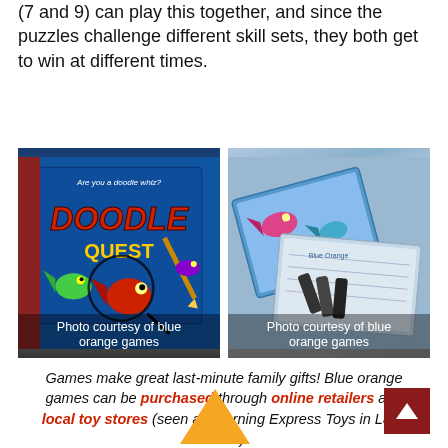(7 and 9) can play this together, and since the puzzles challenge different skill sets, they both get to win at different times.
[Figure (photo): Box of Doodle Quest game with blue underwater theme, fish and squid characters, with caption 'Photo courtesy of blue orange games']
[Figure (photo): Blue Orange games product showing drawing boards and accessories, with caption 'Photo courtesy of blue orange games']
Games make great last-minute family gifts! Blue orange games can be purchased through online retailers and local toy stores (seen at Learning Express Toys in Lake Zurich).